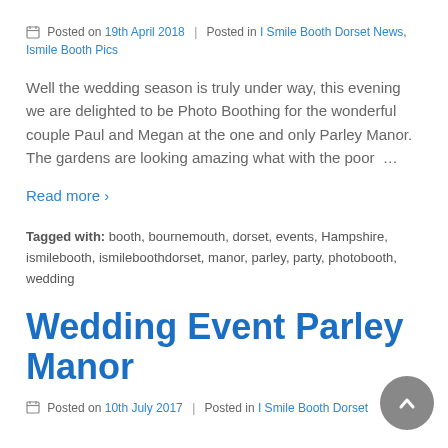Posted on 19th April 2018 | Posted in I Smile Booth Dorset News, Ismile Booth Pics
Well the wedding season is truly under way, this evening we are delighted to be Photo Boothing for the wonderful couple Paul and Megan at the one and only Parley Manor. The gardens are looking amazing what with the poor …
Read more ›
Tagged with: booth, bournemouth, dorset, events, Hampshire, ismilebooth, ismileboothdorset, manor, parley, party, photobooth, wedding
Wedding Event Parley Manor
Posted on 10th July 2017 | Posted in I Smile Booth Dorset